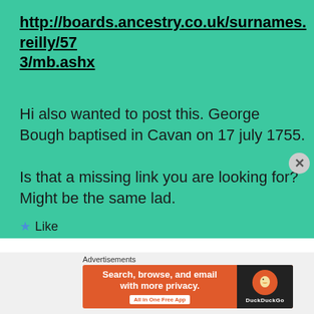http://boards.ancestry.co.uk/surnames.reilly/573/mb.ashx
Hi also wanted to post this. George Bough baptised in Cavan on 17 july 1755.
Is that a missing link you are looking for? Might be the same lad.
Like
Reply